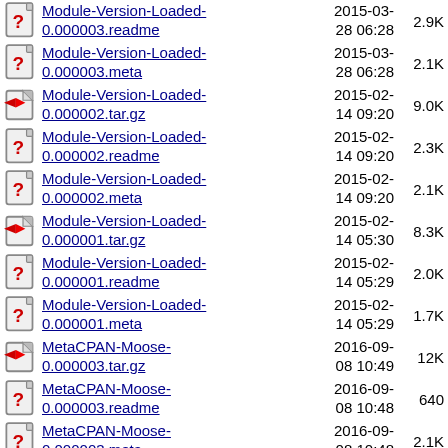Module-Version-Loaded-0.000003.readme  2015-03-28 06:28  2.9K
Module-Version-Loaded-0.000003.meta  2015-03-28 06:28  2.1K
Module-Version-Loaded-0.000002.tar.gz  2015-02-14 09:20  9.0K
Module-Version-Loaded-0.000002.readme  2015-02-14 09:20  2.3K
Module-Version-Loaded-0.000002.meta  2015-02-14 09:20  2.1K
Module-Version-Loaded-0.000001.tar.gz  2015-02-14 05:30  8.3K
Module-Version-Loaded-0.000001.readme  2015-02-14 05:29  2.0K
Module-Version-Loaded-0.000001.meta  2015-02-14 05:29  1.7K
MetaCPAN-Moose-0.000003.tar.gz  2016-09-08 10:49  12K
MetaCPAN-Moose-0.000003.readme  2016-09-08 10:48  640
MetaCPAN-Moose-0.000003.meta  2016-09-08 10:48  2.1K
MetaCPAN-Moose-  2016-04-  11K